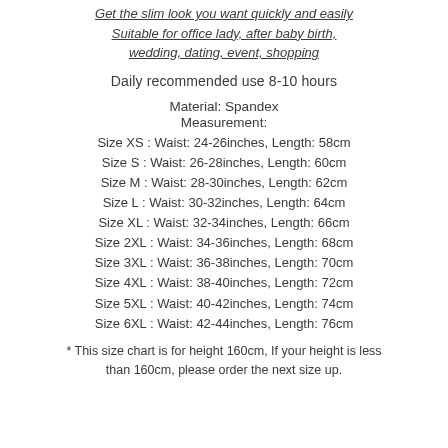Get the slim look you want quickly and easily Suitable for office lady, after baby birth, wedding, dating, event, shopping
Daily recommended use 8-10 hours
Material: Spandex
Measurement:
Size XS : Waist: 24-26inches, Length: 58cm
Size S : Waist: 26-28inches, Length: 60cm
Size M : Waist: 28-30inches, Length: 62cm
Size L : Waist: 30-32inches, Length: 64cm
Size XL : Waist: 32-34inches, Length: 66cm
Size 2XL : Waist: 34-36inches, Length: 68cm
Size 3XL : Waist: 36-38inches, Length: 70cm
Size 4XL : Waist: 38-40inches, Length: 72cm
Size 5XL : Waist: 40-42inches, Length: 74cm
Size 6XL : Waist: 42-44inches, Length: 76cm
* This size chart is for height 160cm, If your height is less than 160cm, please order the next size up.